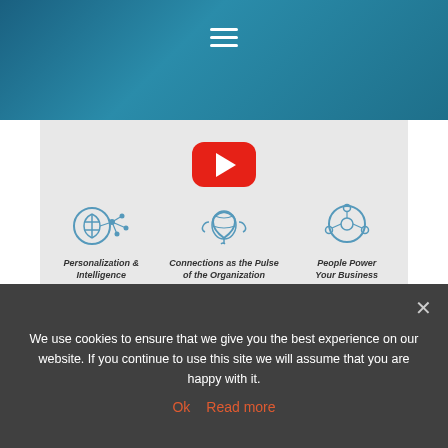Navigation menu (hamburger icon)
[Figure (screenshot): YouTube video thumbnail showing HCL Software content with three icons: Personalization & Intelligence (brain/circuit icon), Connections as the Pulse of the Organization (network icon), People Power Your Business (globe/network icon). Red YouTube play button centered at top. Blue triangle and HCL SOFTWARE branding at bottom.]
Read more
03/07
2019
We use cookies to ensure that we give you the best experience on our website. If you continue to use this site we will assume that you are happy with it.
Ok  Read more